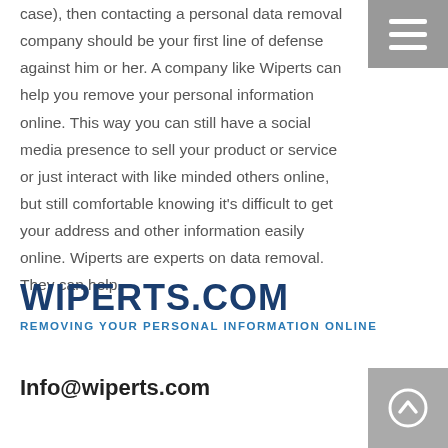case), then contacting a personal data removal company should be your first line of defense against him or her. A company like Wiperts can help you remove your personal information online. This way you can still have a social media presence to sell your product or service or just interact with like minded others online, but still comfortable knowing it's difficult to get your address and other information easily online. Wiperts are experts on data removal. They can help.
[Figure (logo): Wiperts.com logo with tagline 'REMOVING YOUR PERSONAL INFORMATION ONLINE']
Info@wiperts.com